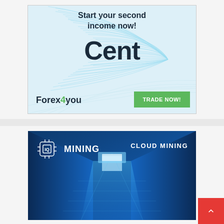[Figure (illustration): Forex4you advertisement banner showing 'Start your second income now! Cent' with blue guilloché wave pattern background, Forex4you logo, and green TRADE NOW! button]
[Figure (illustration): IQ Mining cloud mining advertisement banner with dark blue background showing server/data center corridor perspective view, IQ Mining logo with circuit board icon on left, CLOUD MINING text on right]